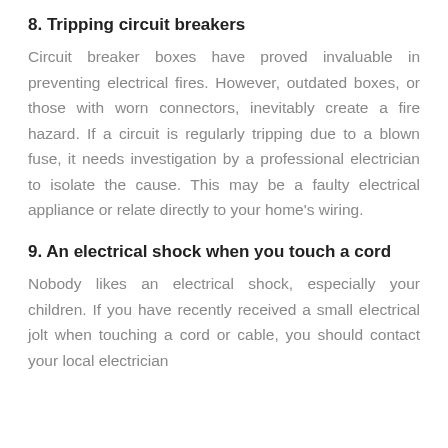8. Tripping circuit breakers
Circuit breaker boxes have proved invaluable in preventing electrical fires. However, outdated boxes, or those with worn connectors, inevitably create a fire hazard. If a circuit is regularly tripping due to a blown fuse, it needs investigation by a professional electrician to isolate the cause. This may be a faulty electrical appliance or relate directly to your home's wiring.
9. An electrical shock when you touch a cord
Nobody likes an electrical shock, especially your children. If you have recently received a small electrical jolt when touching a cord or cable, you should contact your local electrician